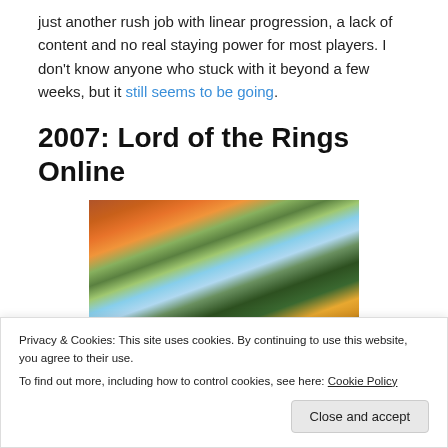just another rush job with linear progression, a lack of content and no real staying power for most players. I don't know anyone who stuck with it beyond a few weeks, but it still seems to be going.
2007: Lord of the Rings Online
[Figure (screenshot): Screenshot of Lord of the Rings Online game landscape showing autumn trees (red, orange, yellow foliage) and mountains in the background under a partly cloudy sky.]
Privacy & Cookies: This site uses cookies. By continuing to use this website, you agree to their use.
To find out more, including how to control cookies, see here: Cookie Policy
Close and accept